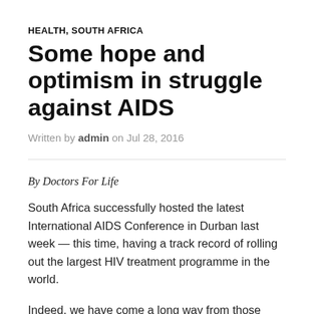HEALTH, SOUTH AFRICA
Some hope and optimism in struggle against AIDS
Written by admin on Jul 28, 2016
By Doctors For Life
South Africa successfully hosted the latest International AIDS Conference in Durban last week — this time, having a track record of rolling out the largest HIV treatment programme in the world.
Indeed, we have come a long way from those disastrous days of Government AIDS denialism which